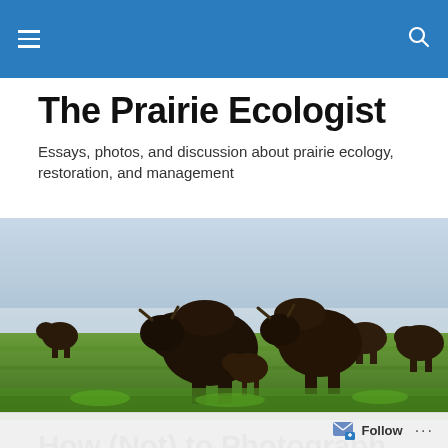Navigation bar with hamburger menu and search icon
The Prairie Ecologist
Essays, photos, and discussion about prairie ecology, restoration, and management
[Figure (photo): A herd of bison walking through a prairie landscape with green grass and misty background]
How (Not) to Photograph Prairie Dogs — Part 2 (Why are
Follow